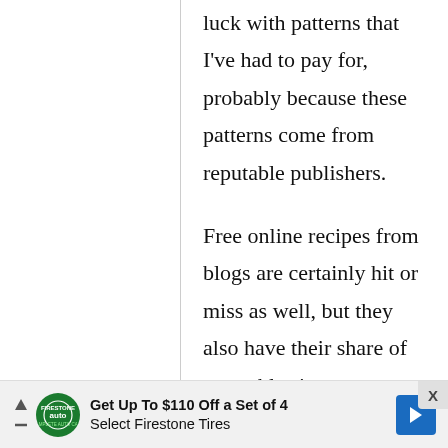luck with patterns that I've had to pay for, probably because these patterns come from reputable publishers.

Free online recipes from blogs are certainly hit or miss as well, but they also have their share of reputable sites.
[Figure (other): Advertisement banner: Get Up To $110 Off a Set of 4 Select Firestone Tires, with Firestone auto logo and blue arrow icon]